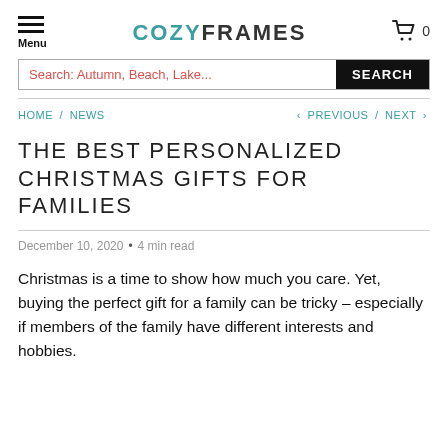COZYFRAMES  Menu  0
Search: Autumn, Beach, Lake...  SEARCH
HOME / NEWS   < PREVIOUS / NEXT >
THE BEST PERSONALIZED CHRISTMAS GIFTS FOR FAMILIES
December 10, 2020  •  4 min read
Christmas is a time to show how much you care. Yet, buying the perfect gift for a family can be tricky – especially if members of the family have different interests and hobbies.